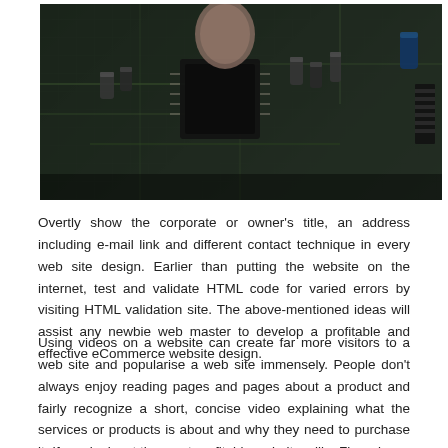[Figure (photo): Close-up photograph of a person's hand touching components on a green circuit board/motherboard with various electronic components including capacitors and chips visible.]
Overtly show the corporate or owner's title, an address including e-mail link and different contact technique in every web site design. Earlier than putting the website on the internet, test and validate HTML code for varied errors by visiting HTML validation site. The above-mentioned ideas will assist any newbie web master to develop a profitable and effective eCommerce website design.
Using videos on a website can create far more visitors to a web site and popularise a web site immensely. People don't always enjoy reading pages and pages about a product and fairly recognize a short, concise video explaining what the services or products is about and why they need to purchase it. If one looks at the most profitable websites, like Fb and...